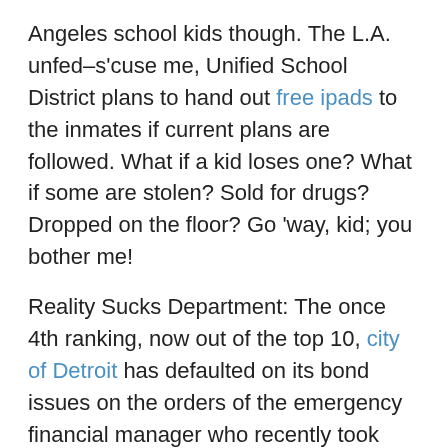Angeles school kids though. The L.A. unfed–s'cuse me, Unified School District plans to hand out free ipads to the inmates if current plans are followed. What if a kid loses one? What if some are stolen? Sold for drugs? Dropped on the floor? Go 'way, kid; you bother me!
Reality Sucks Department: The once 4th ranking, now out of the top 10, city of Detroit has defaulted on its bond issues on the orders of the emergency financial manager who recently took charge. Unrepayable debts aren't limited to Detroit; what is this liable to do to the bond market? Who cares? Well, everybody responsible for rolling over city, county and state bonds coming due, to name a very relevant few. What happens to the U.S. economy when a bunch of cities and counties go belly up all at once? Maybe we'd rather not find out?